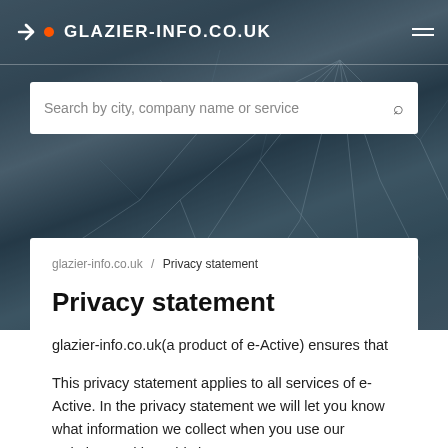GLAZIER-INFO.CO.UK
Search by city, company name or service
glazier-info.co.uk / Privacy statement
Privacy statement
glazier-info.co.uk(a product of e-Active) ensures that your data is processed carefully and confidentially in order to protect your privacy.
This privacy statement applies to all services of e-Active. In the privacy statement we will let you know what information we collect when you use our websites and how this improves your user experience. All personal data that e-Active stores from its users are voluntarily given. This